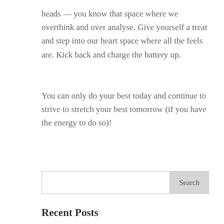heads — you know that space where we overthink and over analyse. Give yourself a treat and step into our heart space where all the feels are. Kick back and charge the battery up.
You can only do your best today and continue to strive to stretch your best tomorrow (if you have the energy to do so)!
Recent Posts